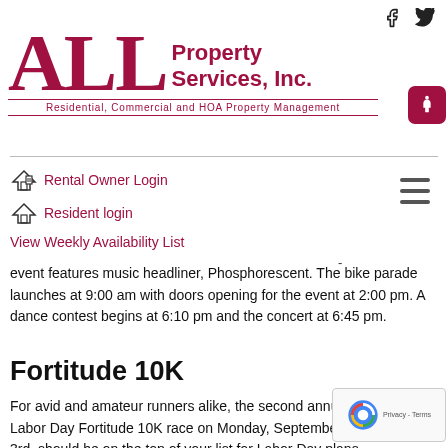[Figure (logo): ALL Property Services, Inc. logo with text 'Residential, Commercial and HOA Property Management']
Rental Owner Login
Resident login
View Weekly Availability List
event features music headliner, Phosphorescent. The bike parade launches at 9:00 am with doors opening for the event at 2:00 pm. A dance contest begins at 6:10 pm and the concert at 6:45 pm.
Fortitude 10K
For avid and amateur runners alike, the second annual Labor Day Fortitude 10K race on Monday, September 3rd, should be on the top of your list for Labor Day plans...